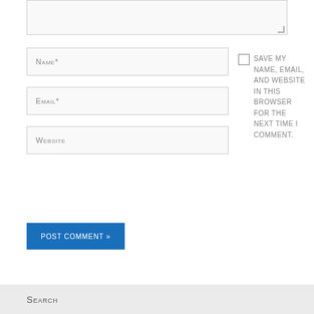[Figure (screenshot): Text area input box (partially visible at top of page)]
Name*
Email*
Website
Save my name, email, and website in this browser for the next time I comment.
Post Comment »
Search